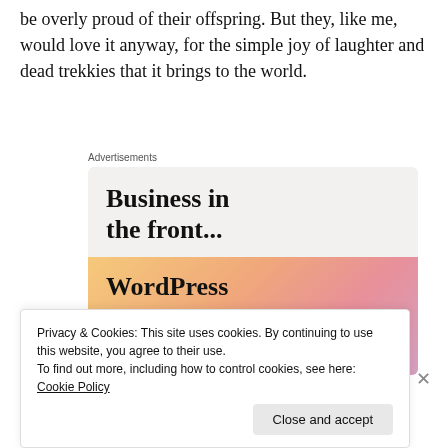be overly proud of their offspring. But they, like me, would love it anyway, for the simple joy of laughter and dead trekkies that it brings to the world.
[Figure (screenshot): WordPress advertisement: 'Business in the front... WordPress in the back.' Top half has dark text on light background, bottom half has dark text on colorful gradient (orange/pink/mauve) background. Labeled 'Advertisements' above.]
Privacy & Cookies: This site uses cookies. By continuing to use this website, you agree to their use.
To find out more, including how to control cookies, see here: Cookie Policy
Close and accept